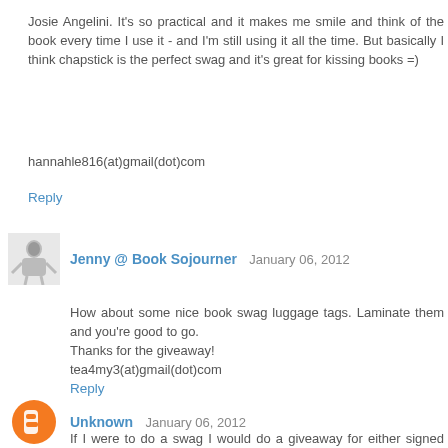Josie Angelini. It's so practical and it makes me smile and think of the book every time I use it - and I'm still using it all the time. But basically I think chapstick is the perfect swag and it's great for kissing books =)
hannahle816(at)gmail(dot)com
Reply
Jenny @ Book Sojourner  January 06, 2012
How about some nice book swag luggage tags. Laminate them and you're good to go.
Thanks for the giveaway!
tea4my3(at)gmail(dot)com
Reply
Unknown  January 06, 2012
If I were to do a swag I would do a giveaway for either signed copies of Tiger's Curse series (1-2) with a few